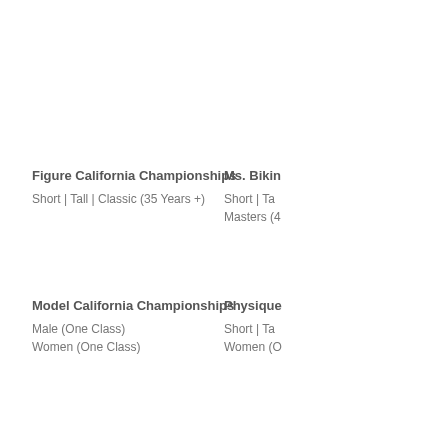Figure California Championships
Short | Tall | Classic (35 Years +)
Ms. Bikin
Short | Ta
Masters (4
Model California Championships
Male  (One Class)
Women (One Class)
Physique
Short | Ta
Women (O